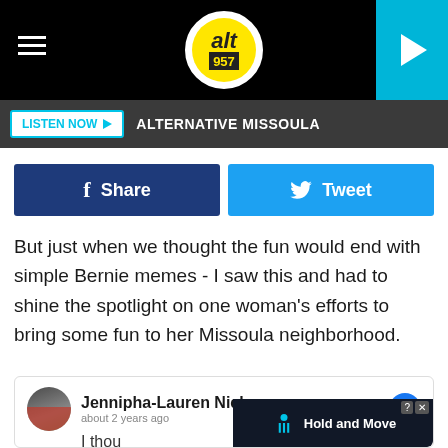[Figure (logo): alt 957 radio station logo — yellow circle with black text 'alt' and '957', hamburger menu icon on left, play button on right on teal background]
LISTEN NOW ▶  ALTERNATIVE MISSOULA
[Figure (infographic): Facebook Share button (dark blue) and Twitter Tweet button (light blue) side by side]
But just when we thought the fun would end with simple Bernie memes - I saw this and had to shine the spotlight on one woman's efforts to bring some fun to her Missoula neighborhood.
[Figure (screenshot): Facebook post by Jennipha-Lauren Nielsen with profile photo, Facebook icon, partial post text starting 'I thou', and an ad overlay for 'Hold and Move']